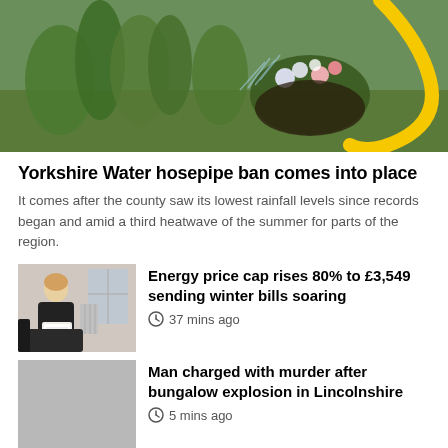[Figure (photo): Garden scene with plants and yellow hosepipe watering flowers]
Yorkshire Water hosepipe ban comes into place
It comes after the county saw its lowest rainfall levels since records began and amid a third heatwave of the summer for parts of the region.
[Figure (photo): Person sitting on sofa holding papers, looking at bills]
Energy price cap rises 80% to £3,549 sending winter bills soaring
37 mins ago
[Figure (photo): Grey placeholder image for bungalow explosion story]
Man charged with murder after bungalow explosion in Lincolnshire
5 mins ago
[Figure (photo): Dark street scene with red car lights]
Man charged with possession of machete in Leeds